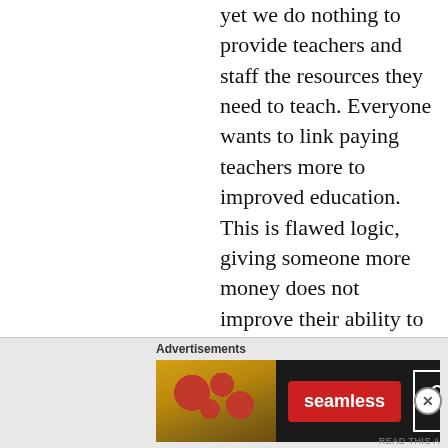...funding for years, long before, and yet we do nothing to provide teachers and staff the resources they need to teach. Everyone wants to link paying teachers more to improved education. This is flawed logic, giving someone more money does not improve their ability to teach. Improving the conditions and resources the teachers have will improve their ability to teach. By all means increase teachers pay, but give them the tools they need first. If we are to attach money to the
[Figure (other): Advertisement banner for Seamless food delivery service showing pizza image on left, Seamless logo in red, and ORDER NOW button with white border on dark background]